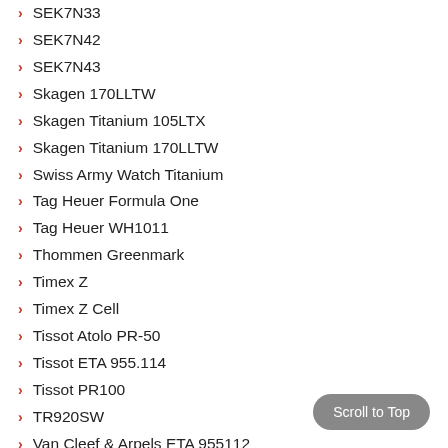SEK7N33
SEK7N42
SEK7N43
Skagen 170LLTW
Skagen Titanium 105LTX
Skagen Titanium 170LLTW
Swiss Army Watch Titanium
Tag Heuer Formula One
Tag Heuer WH1011
Thommen Greenmark
Timex Z
Timex Z Cell
Tissot Atolo PR-50
Tissot ETA 955.114
Tissot PR100
TR920SW
Van Cleef & Arpels ETA 955112
Vartachron V371
Victorinox Swiss Army Calvary
VX42-XO51
Waltham G
Wenger 7291X